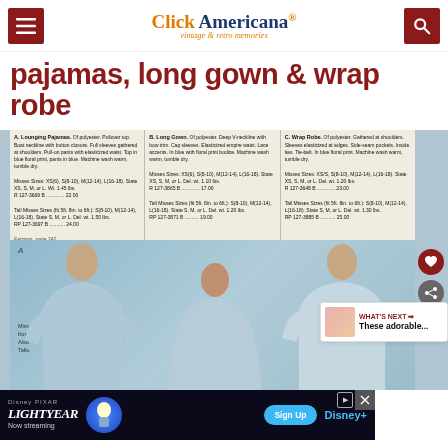Click Americana — vintage & retro memories
pajamas, long gown & wrap robe
[Figure (photo): Vintage catalog page showing three women modeling sleepwear: A) Lounging Pajamas in blue floral print polyester, B) Long Gown in blue with floral print bodice, C) Wrap Robe in blue floral print polyester. Catalog text shows item numbers, sizes, and prices around $22-$25. Models shown in a fashion catalog photography style.]
[Figure (screenshot): Disney Pixar Lightyear advertisement banner — Now streaming on Disney+, with Sign Up button]